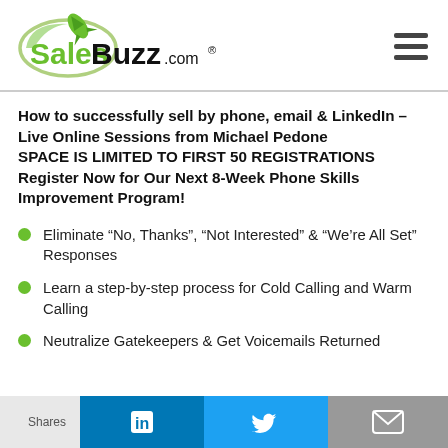[Figure (logo): SalesBuzz.com logo with green rocket and oval swoosh, registered trademark symbol]
How to successfully sell by phone, email & LinkedIn – Live Online Sessions from Michael Pedone SPACE IS LIMITED TO FIRST 50 REGISTRATIONS Register Now for Our Next 8-Week Phone Skills Improvement Program!
Eliminate “No, Thanks”, “Not Interested” & “We’re All Set” Responses
Learn a step-by-step process for Cold Calling and Warm Calling
Neutralize Gatekeepers & Get Voicemails Returned
Shares | LinkedIn | Twitter | Email